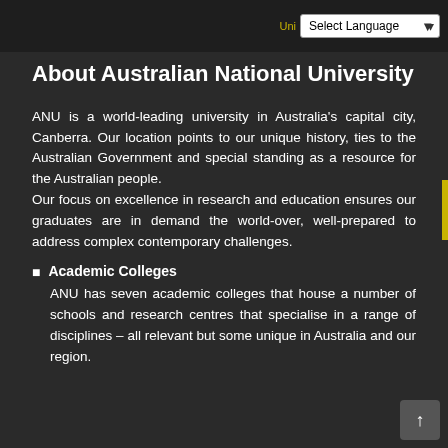Select Language
About Australian National University
ANU is a world-leading university in Australia's capital city, Canberra. Our location points to our unique history, ties to the Australian Government and special standing as a resource for the Australian people. Our focus on excellence in research and education ensures our graduates are in demand the world-over, well-prepared to address complex contemporary challenges.
Academic Colleges
ANU has seven academic colleges that house a number of schools and research centres that specialise in a range of disciplines – all relevant but some unique in Australia and our region.